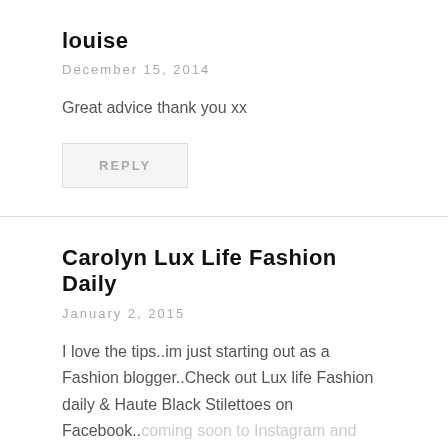louise
December 15, 2014
Great advice thank you xx
REPLY
Carolyn Lux Life Fashion Daily
January 2, 2015
I love the tips..im just starting out as a Fashion blogger..Check out Lux life Fashion daily & Haute Black Stilettoes on Facebook..coming soon to Instagram and twitter..